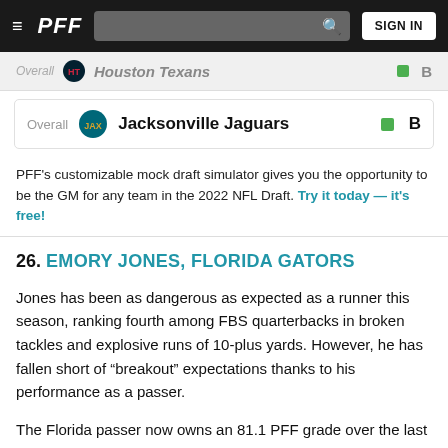PFF | SIGN IN
Overall  Houston Texans  B
Overall  Jacksonville Jaguars  B
PFF's customizable mock draft simulator gives you the opportunity to be the GM for any team in the 2022 NFL Draft. Try it today — it's free!
26. EMORY JONES, FLORIDA GATORS
Jones has been as dangerous as expected as a runner this season, ranking fourth among FBS quarterbacks in broken tackles and explosive runs of 10-plus yards. However, he has fallen short of “breakout” expectations thanks to his performance as a passer.
The Florida passer now owns an 81.1 PFF grade over the last four weeks. Dan Mullen has started to give Jones easier concepts to hit accurately, such as a lot of stick